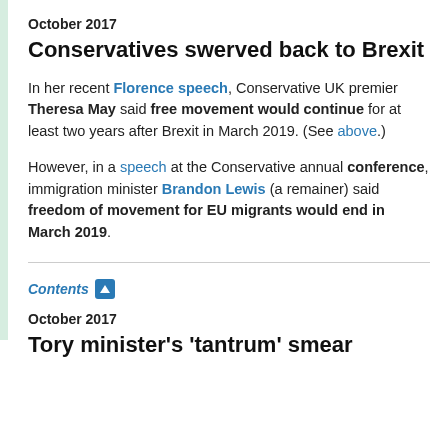October 2017
Conservatives swerved back to Brexit
In her recent Florence speech, Conservative UK premier Theresa May said free movement would continue for at least two years after Brexit in March 2019. (See above.)
However, in a speech at the Conservative annual conference, immigration minister Brandon Lewis (a remainer) said freedom of movement for EU migrants would end in March 2019.
Contents ▲
October 2017
Tory minister's 'tantrum' smear